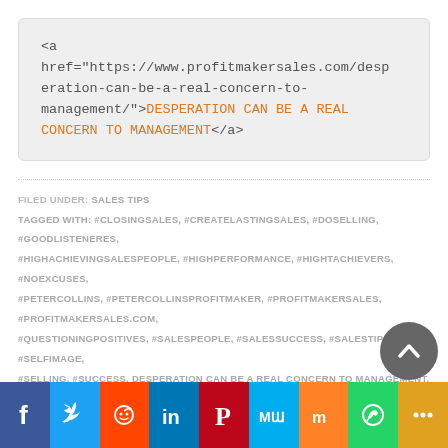[Figure (screenshot): Code box showing HTML anchor tag: <a href="https://www.profitmakersales.com/desperation-can-be-a-real-concern-to-management/">DESPERATION CAN BE A REAL CONCERN TO MANAGEMENT</a>]
FILED UNDER: SALES TIPS
TAGGED WITH: #CLOSINGSALES, #CREATELASTINGSALES, #DOSELLING, #GOODLISTENERES, #HIGHACHIEVINGSALESPEOPLE, #HIGHPERFORMANCE, #HIGHTACHIEVERS, #NOEXCUSES, #PETERCOLLINS, #PETERCOLLINSPROFITMAKER, #PROFITMAKERSALES, #PROFITMAKERSALES.COM, #QUESTIONINGPOSITIVES, #SALESPEOPLE, #SALESSUCCESS, #SALESTIPS, #SELFIMAGE, #SELLING, #SUCCESS, DESPERATION CAN BE A REAL CONCERN TO MANAGEMENT, SALES
[Figure (infographic): Social sharing bar with Facebook, Twitter, Reddit, LinkedIn, Pinterest, MeWe, Mix, WhatsApp, More buttons]